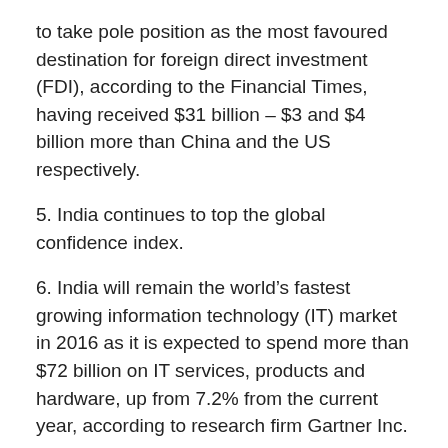to take pole position as the most favoured destination for foreign direct investment (FDI), according to the Financial Times, having received $31 billion – $3 and $4 billion more than China and the US respectively.
5. India continues to top the global confidence index.
6. India will remain the world's fastest growing information technology (IT) market in 2016 as it is expected to spend more than $72 billion on IT services, products and hardware, up from 7.2% from the current year, according to research firm Gartner Inc.
7. As the second-fastest growing and third-largest start-up ecosystem in the world, India is moving at a frenetic pace.
8. The Strategy& study found China and India recorded R&D spending growth of 79 percent and 116 percent,